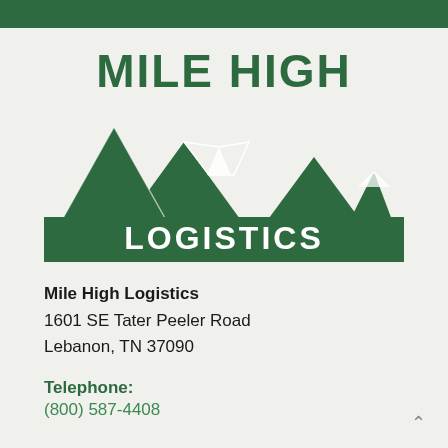[Figure (logo): Mile High Logistics logo with mountain silhouette and company name]
Mile High Logistics
1601 SE Tater Peeler Road
Lebanon, TN 37090
Telephone:
(800) 587-4408